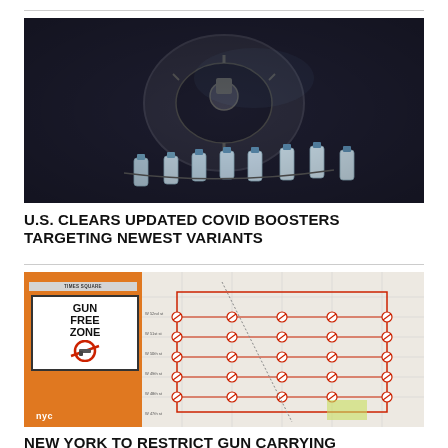[Figure (photo): Close-up photo of small vaccine vials on a dark automated filling/capping machine carousel, industrial pharmaceutical equipment]
U.S. CLEARS UPDATED COVID BOOSTERS TARGETING NEWEST VARIANTS
[Figure (photo): Photo of a Times Square GUN FREE ZONE sign with an orange background panel beside a map showing restricted area streets with no-gun symbols, branded with NYC logo]
NEW YORK TO RESTRICT GUN CARRYING